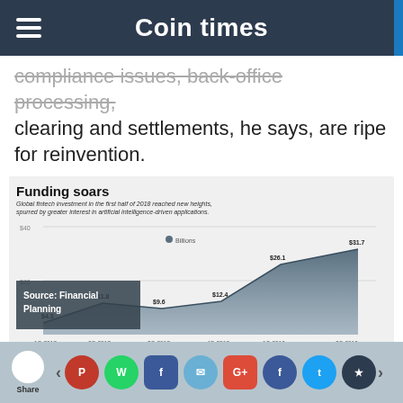Coin times
compliance issues, back-office processing, clearing and settlements, he says, are ripe for reinvention.
[Figure (area-chart): Global fintech investment in the first half of 2018 reached new heights, spurred by greater interest in artificial intelligence-driven applications.]
Source: KPMG Pulse of Fintech 2018
How Does Machine
Share | social media icons